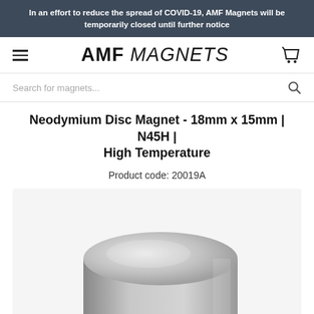In an effort to reduce the spread of COVID-19, AMF Magnets will be temporarily closed until further notice
AMF MAGNETS
Search for magnets...
Neodymium Disc Magnet - 18mm x 15mm | N45H | High Temperature
Product code: 20019A
[Figure (photo): Close-up photograph of a silver neodymium disc magnet, cylindrical shape, showing the top and side surfaces with a metallic sheen.]